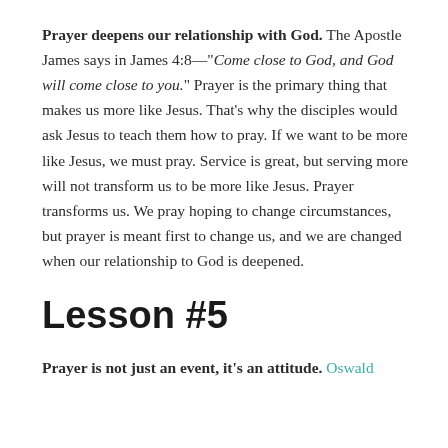Prayer deepens our relationship with God. The Apostle James says in James 4:8—"Come close to God, and God will come close to you." Prayer is the primary thing that makes us more like Jesus. That's why the disciples would ask Jesus to teach them how to pray. If we want to be more like Jesus, we must pray. Service is great, but serving more will not transform us to be more like Jesus. Prayer transforms us. We pray hoping to change circumstances, but prayer is meant first to change us, and we are changed when our relationship to God is deepened.
Lesson #5
Prayer is not just an event, it's an attitude. Oswald